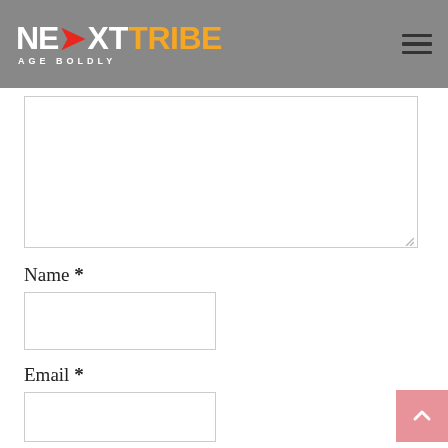NextTribe — Age Boldly
Comment textarea (empty)
Name *
Email *